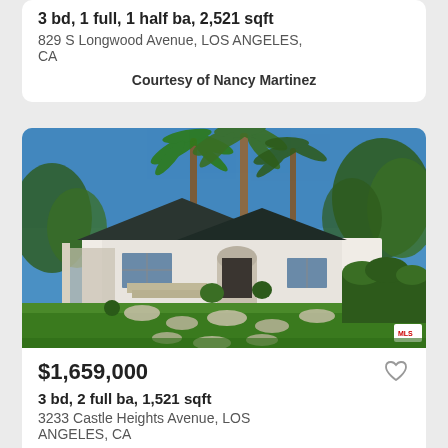3 bd, 1 full, 1 half ba, 2,521 sqft
829 S Longwood Avenue, LOS ANGELES, CA
Courtesy of Nancy Martinez
[Figure (photo): Exterior photo of a white single-story home with a dark roof, palm trees in background, green lawn in foreground, stone stepping paths, clear blue sky. MLS logo in bottom right.]
$1,659,000
3 bd, 2 full ba, 1,521 sqft
3233 Castle Heights Avenue, LOS ANGELES, CA
Courtesy of Rory Posin